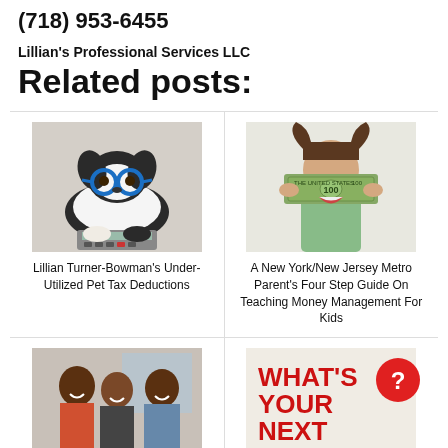(718) 953-6455
Lillian's Professional Services LLC
Related posts:
[Figure (photo): A dog wearing blue glasses sitting in front of a calculator]
Lillian Turner-Bowman's Under-Utilized Pet Tax Deductions
[Figure (photo): A young girl holding a dollar bill over her eyes and smiling]
A New York/New Jersey Metro Parent's Four Step Guide On Teaching Money Management For Kids
[Figure (photo): A group of people laughing together indoors]
[Figure (other): Text image reading WHAT'S YOUR NEXT with a red circle containing a question mark]